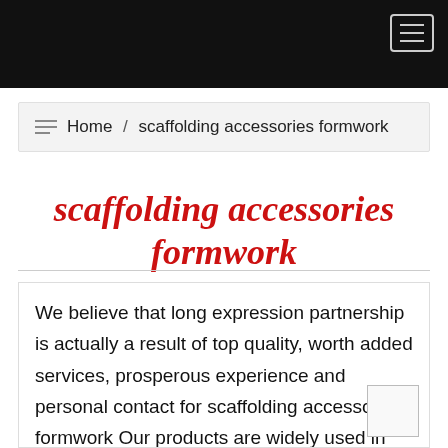Navigation bar with hamburger menu
Home / scaffolding accessories formwork
scaffolding accessories formwork
We believe that long expression partnership is actually a result of top quality, worth added services, prosperous experience and personal contact for scaffolding accessories formwork Our products are widely used in many industrial fields. Our Company Services Division in good faith for the purpose o